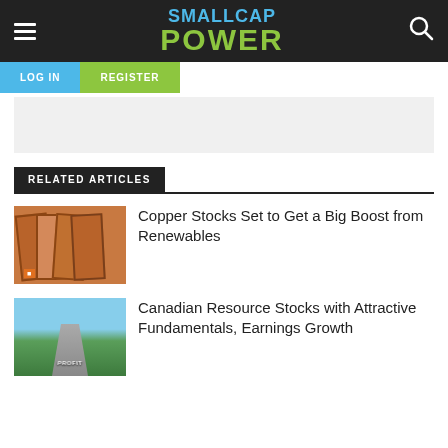SMALLCAP POWER
RELATED ARTICLES
Copper Stocks Set to Get a Big Boost from Renewables
Canadian Resource Stocks with Attractive Fundamentals, Earnings Growth